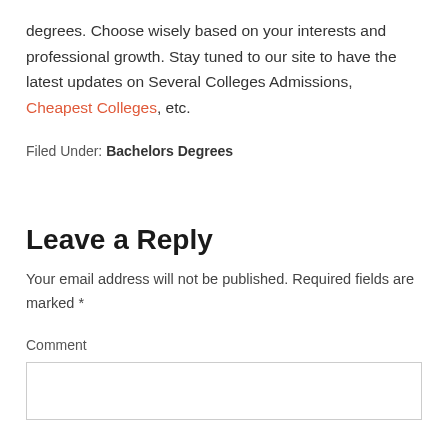degrees. Choose wisely based on your interests and professional growth. Stay tuned to our site to have the latest updates on Several Colleges Admissions, Cheapest Colleges, etc.
Filed Under: Bachelors Degrees
Leave a Reply
Your email address will not be published. Required fields are marked *
Comment